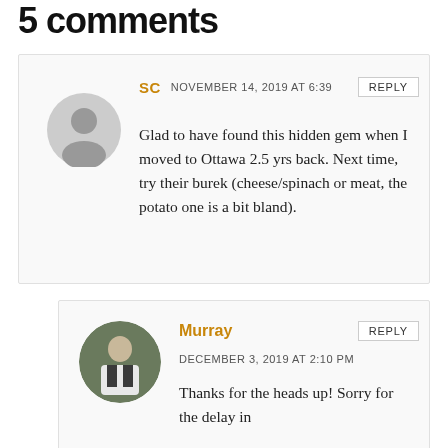5 comments
SC  NOVEMBER 14, 2019 AT 6:39  REPLY
Glad to have found this hidden gem when I moved to Ottawa 2.5 yrs back. Next time, try their burek (cheese/spinach or meat, the potato one is a bit bland).
Murray  REPLY
DECEMBER 3, 2019 AT 2:10 PM
Thanks for the heads up! Sorry for the delay in